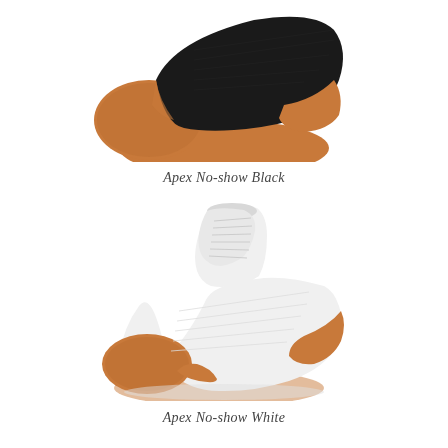[Figure (photo): Close-up of a black no-show sock with copper/orange toe and heel areas, shown from a side/bottom angle cropped at the top of the page]
Apex No-show Black
[Figure (photo): White no-show sock with copper/orange toe, heel, and arch accent areas, shown in full side view against white background]
Apex No-show White